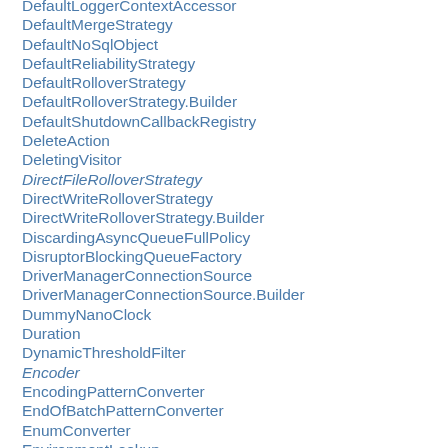DefaultLoggerContextAccessor
DefaultMergeStrategy
DefaultNoSqlObject
DefaultReliabilityStrategy
DefaultRolloverStrategy
DefaultRolloverStrategy.Builder
DefaultShutdownCallbackRegistry
DeleteAction
DeletingVisitor
DirectFileRolloverStrategy
DirectWriteRolloverStrategy
DirectWriteRolloverStrategy.Builder
DiscardingAsyncQueueFullPolicy
DisruptorBlockingQueueFactory
DriverManagerConnectionSource
DriverManagerConnectionSource.Builder
DummyNanoClock
Duration
DynamicThresholdFilter
Encoder
EncodingPatternConverter
EndOfBatchPatternConverter
EnumConverter
EnvironmentLookup
EqualsBaseReplacementConverter
EqualsIgnoreCaseReplacementConverter
EqualsReplacementConverter
ErrorHandler